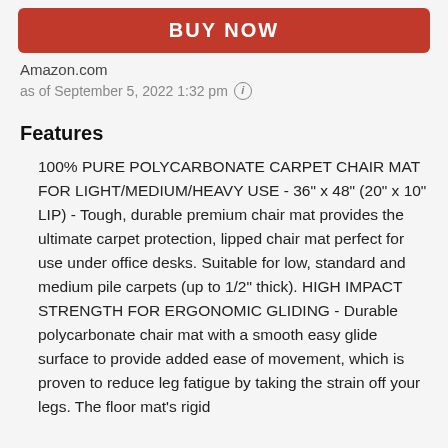[Figure (other): Red BUY NOW button]
Amazon.com
as of September 5, 2022 1:32 pm ℹ
Features
100% PURE POLYCARBONATE CARPET CHAIR MAT FOR LIGHT/MEDIUM/HEAVY USE - 36" x 48" (20" x 10" LIP) - Tough, durable premium chair mat provides the ultimate carpet protection, lipped chair mat perfect for use under office desks. Suitable for low, standard and medium pile carpets (up to 1/2" thick). HIGH IMPACT STRENGTH FOR ERGONOMIC GLIDING - Durable polycarbonate chair mat with a smooth easy glide surface to provide added ease of movement, which is proven to reduce leg fatigue by taking the strain off your legs. The floor mat's rigid